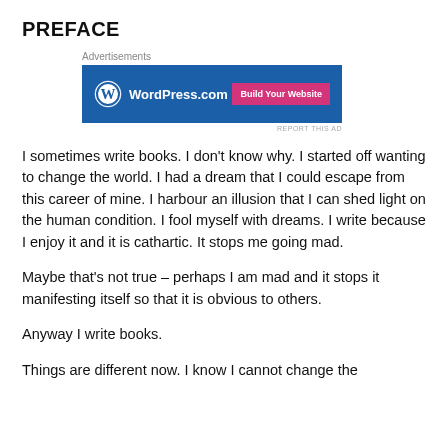PREFACE
[Figure (other): WordPress.com advertisement banner with 'Build Your Website' button on blue background]
I sometimes write books. I don't know why. I started off wanting to change the world. I had a dream that I could escape from this career of mine. I harbour an illusion that I can shed light on the human condition. I fool myself with dreams. I write because I enjoy it and it is cathartic. It stops me going mad.
Maybe that's not true – perhaps I am mad and it stops it manifesting itself so that it is obvious to others.
Anyway I write books.
Things are different now. I know I cannot change the